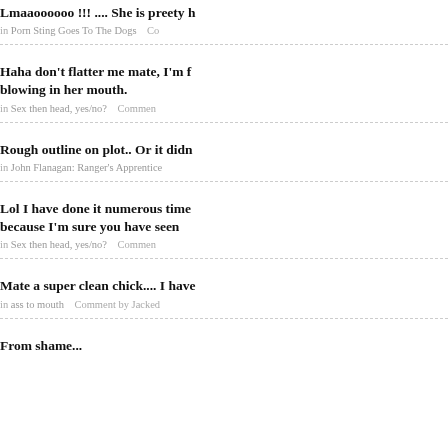Lmaaoooooo !!! .... She is preety h
in Porn Sting Goes To The Dogs   Co
Haha don't flatter me mate, I'm f blowing in her mouth.
in Sex then head, yes/no?   Commen
Rough outline on plot.. Or it didn
in John Flanagan: Ranger's Apprentice
Lol I have done it numerous time because I'm sure you have seen
in Sex then head, yes/no?   Commen
Mate a super clean chick.... I have
in ass to mouth   Comment by Jacked
From shame...